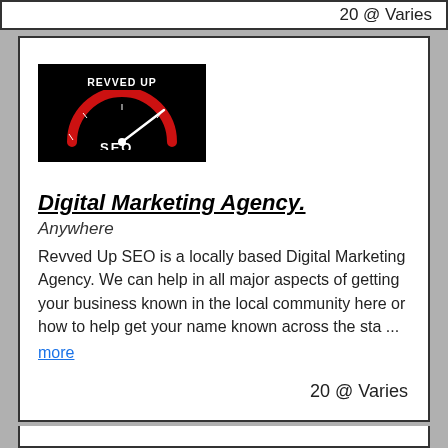20 @ Varies
[Figure (logo): Revved Up SEO logo — black background with white text 'REVVED UP' at top, red speedometer arc with white needle pointing right, white text 'SEO' below arc]
Digital Marketing Agency.
Anywhere
Revved Up SEO is a locally based Digital Marketing Agency. We can help in all major aspects of getting your business known in the local community here or how to help get your name known across the sta ...
more
20 @ Varies